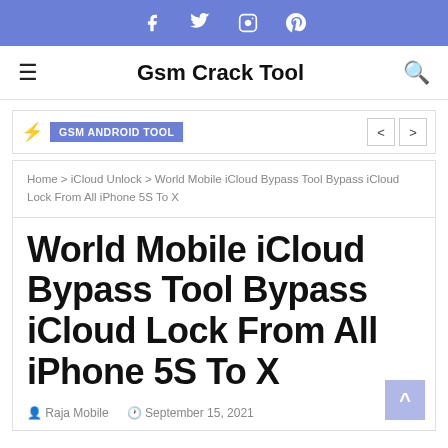Social media icons: Facebook, Twitter, Instagram, Pinterest
Gsm Crack Tool
GSM ANDROID TOOL
Home > iCloud Unlock > World Mobile iCloud Bypass Tool Bypass iCloud Lock From All iPhone 5S To X
World Mobile iCloud Bypass Tool Bypass iCloud Lock From All iPhone 5S To X
Raja Mobile  September 15, 2021